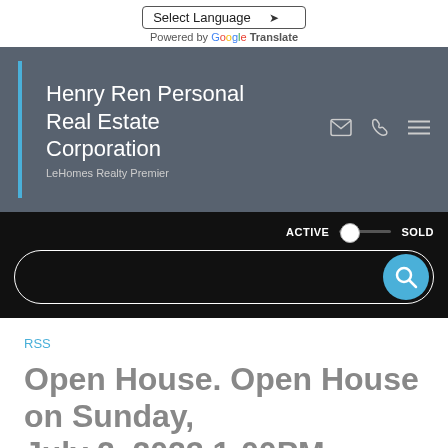Select Language | Powered by Google Translate
[Figure (screenshot): Henry Ren Personal Real Estate Corporation hero banner with blue left border, white title text, subtitle 'LeHomes Realty Premier', and icons for email, phone, and menu on a dark grey background]
[Figure (screenshot): Dark search section with ACTIVE/SOLD toggle and a rounded search bar with teal search button]
RSS
Open House. Open House on Sunday, July 2, 2023 1:00PM